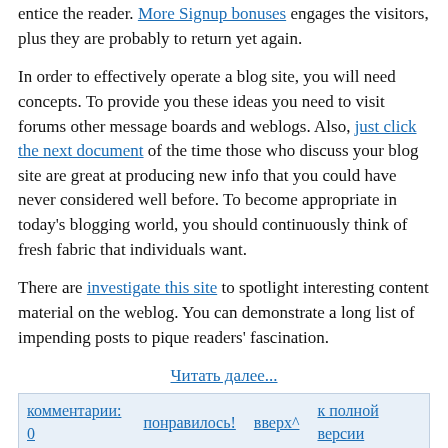entice the reader. More Signup bonuses engages the visitors, plus they are probably to return yet again.
In order to effectively operate a blog site, you will need concepts. To provide you these ideas you need to visit forums other message boards and weblogs. Also, just click the next document of the time those who discuss your blog site are great at producing new info that you could have never considered well before. To become appropriate in today's blogging world, you should continuously think of fresh fabric that individuals want.
There are investigate this site to spotlight interesting content material on the weblog. You can demonstrate a long list of impending posts to pique readers' fascination.
Читать далее...
комментарии: 0   понравилось!   вверх^   к полной версии
Getting A Difficult Time Writing a blog? Give The Following Tips A " spin "!
28-09-2021 10:14